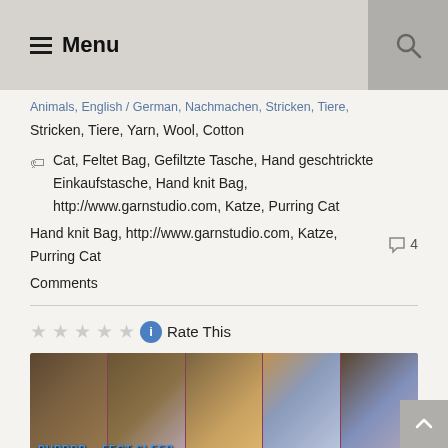Menu
Animals, Englisch, German, Nachmachen, Stricken, Tiere, Yarn, Wool, Cotton
Cat, Feltet Bag, Gefiltzte Tasche, Hand geschtrickte Einkaufstasche, Hand knit Bag, http://www.garnstudio.com, Katze, Purring Cat
4 Comments
Rate This
[Figure (photo): Five cats sleeping in a colorful hand-knit felted bag with text overlay reading PURRRR....FECT SLEEP]
Purrrr.... fect sleep...what can I say.  Our cat has a great life with us....so sleepy all day and oh look a hand knit felted bag that was just way to big to shop with.  So we decided to have it as a cat sleeping bag.  She even